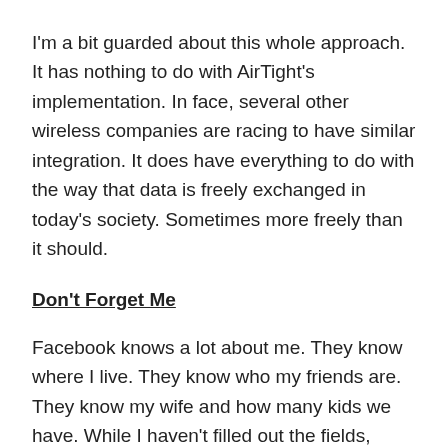I'm a bit guarded about this whole approach. It has nothing to do with AirTight's implementation. In face, several other wireless companies are racing to have similar integration. It does have everything to do with the way that data is freely exchanged in today's society. Sometimes more freely than it should.
Don't Forget Me
Facebook knows a lot about me. They know where I live. They know who my friends are. They know my wife and how many kids we have. While I haven't filled out the fields, there are others that have indicated things like political views and even more personal information like relationship status or sexual orientation. Facebook has become a social data dump for hundreds of millions of people.